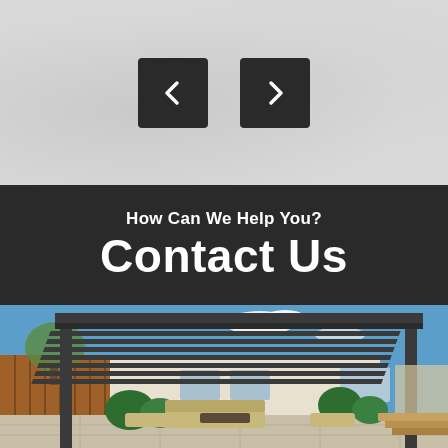[Figure (other): Navigation buttons: left arrow and right arrow on gray textured background]
How Can We Help You?
Contact Us
[Figure (photo): Photo of a modern dark gray pergola with louvered roof over an outdoor patio area with furniture, plants, and a house in the background]